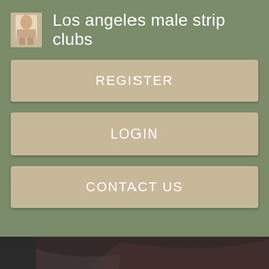Los angeles male strip clubs
REGISTER
LOGIN
CONTACT US
[Figure (screenshot): YouTube video embed thumbnail with 'Watch on YouTube' bar overlay, dark background with partial image visible]
SCL Photo Gallery. Strip Club Events.
[Figure (photo): Dark blue/navy background photo with a red car or object partially visible at the bottom right]